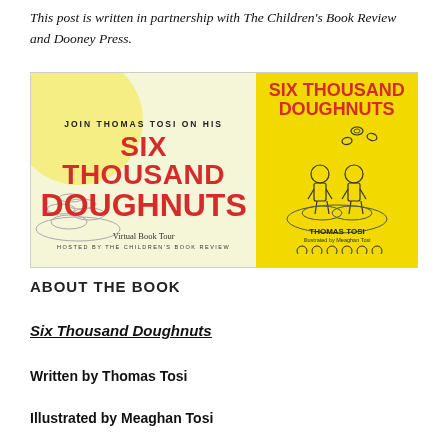This post is written in partnership with The Children's Book Review and Dooney Press.
[Figure (illustration): Virtual Book Tour banner for Six Thousand Doughnuts by Thomas Tosi. Left half has light yellow background with large red bold text 'SIX THOUSAND DOUGHNUTS', subtitle 'Virtual Book Tour' and 'HOSTED BY THE CHILDREN'S BOOK REVIEW'. Right half has yellow background showing book cover with two children standing on doughnuts and the title 'SIX THOUSAND DOUGHNUTS' by Thomas Tosi, illustrated by Meaghan Tosi.]
ABOUT THE BOOK
Six Thousand Doughnuts
Written by Thomas Tosi
Illustrated by Meaghan Tosi